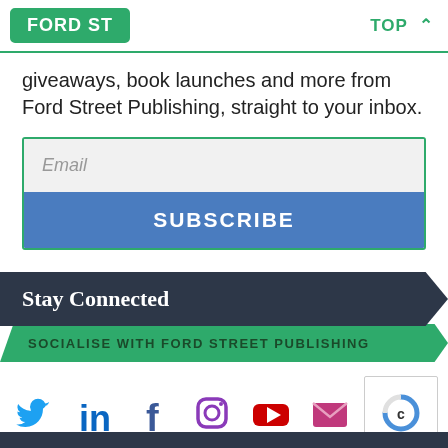FORD ST | TOP
giveaways, book launches and more from Ford Street Publishing, straight to your inbox.
[Figure (screenshot): Email input field with placeholder text 'Email' and a blue SUBSCRIBE button below]
Stay Connected
SOCIALISE WITH FORD STREET PUBLISHING
[Figure (infographic): Social media icons row: Twitter (blue bird), LinkedIn (blue 'in'), Facebook (dark blue 'f'), Instagram (gradient circle), YouTube (red play button), Email (envelope icon)]